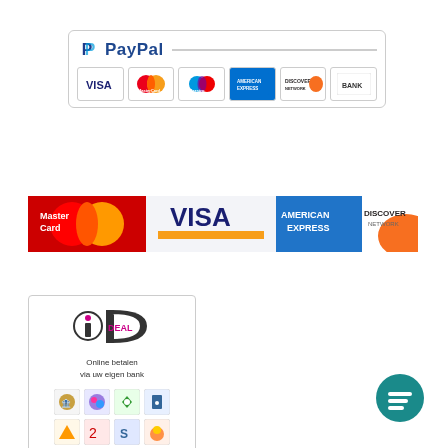[Figure (logo): PayPal payment widget showing PayPal logo and card logos: VISA, MasterCard, Maestro, American Express, Discover, BANK]
[Figure (logo): Payment banner showing MasterCard, VISA, American Express, Discover Network logos side by side]
[Figure (logo): iDEAL payment box with logo, text 'Online betalen via uw eigen bank', and bank icons]
[Figure (logo): Teal circular chat/messaging button icon in bottom-right corner]